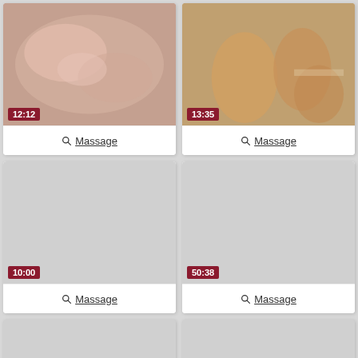[Figure (screenshot): Video thumbnail grid showing massage videos. Top-left: close-up skin/hands image, duration 12:12. Top-right: two people on floor image, duration 13:35. Middle-left: blank gray thumbnail, duration 10:00. Middle-right: blank gray thumbnail, duration 50:38. Bottom row: two partial blank gray thumbnails.]
Massage
Massage
Massage
Massage